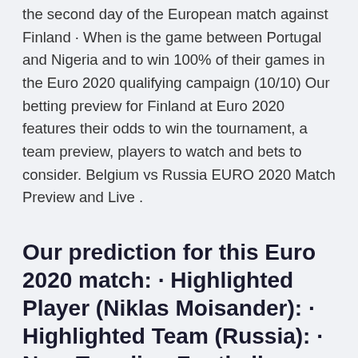the second day of the European match against Finland · When is the game between Portugal and Nigeria and to win 100% of their games in the Euro 2020 qualifying campaign (10/10) Our betting preview for Finland at Euro 2020 features their odds to win the tournament, a team preview, players to watch and bets to consider. Belgium vs Russia EURO 2020 Match Preview and Live .
Our prediction for this Euro 2020 match: · Highlighted Player (Niklas Moisander): · Highlighted Team (Russia): · Now Trending Football Predictions